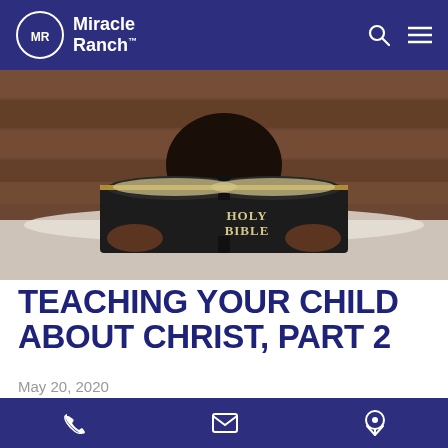Miracle Ranch
[Figure (photo): A child reading a Holy Bible, face hidden behind the open book, lying on a bed with wooden headboard in background.]
TEACHING YOUR CHILD ABOUT CHRIST, PART 2
May 20, 2020
Last week we shared one mom's experience of teaching her child about Christ. We recommend
Phone  Email  Location